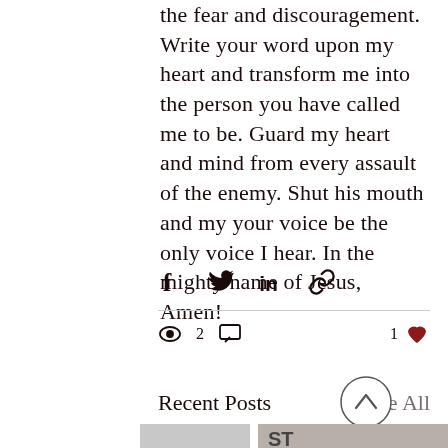the fear and discouragement. Write your word upon my heart and transform me into the person you have called me to be. Guard my heart and mind from every assault of the enemy. Shut his mouth and my your voice be the only voice I hear. In the mighty name of Jesus, Amen!
[Figure (other): Social share icons: Facebook, Twitter, LinkedIn, link/chain icon]
2 views  1 like
Recent Posts
See All